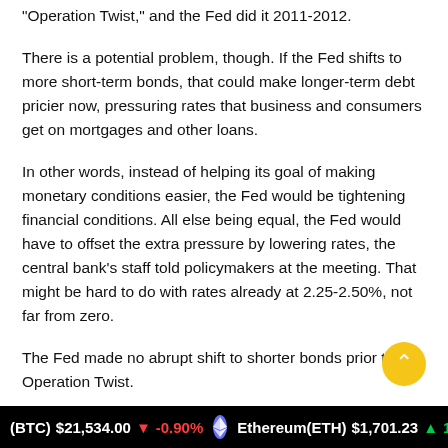“Operation Twist,” and the Fed did it 2011-2012.
There is a potential problem, though. If the Fed shifts to more short-term bonds, that could make longer-term debt pricier now, pressuring rates that business and consumers get on mortgages and other loans.
In other words, instead of helping its goal of making monetary conditions easier, the Fed would be tightening financial conditions. All else being equal, the Fed would have to offset the extra pressure by lowering rates, the central bank’s staff told policymakers at the meeting. That might be hard to do with rates already at 2.25-2.50%, not far from zero.
The Fed made no abrupt shift to shorter bonds prior to Operation Twist.
(BTC) $21,534.00 ↓ -0.90%   Ethereum(ETH) $1,701.23 ↑ 1.42%